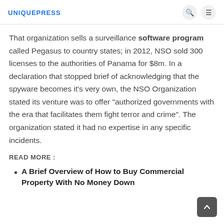UNIQUEPRESS
That organization sells a surveillance software program called Pegasus to country states; in 2012, NSO sold 300 licenses to the authorities of Panama for $8m. In a declaration that stopped brief of acknowledging that the spyware becomes it’s very own, the NSO Organization stated its venture was to offer “authorized governments with the era that facilitates them fight terror and crime”. The organization stated it had no expertise in any specific incidents.
READ MORE :
A Brief Overview of How to Buy Commercial Property With No Money Down